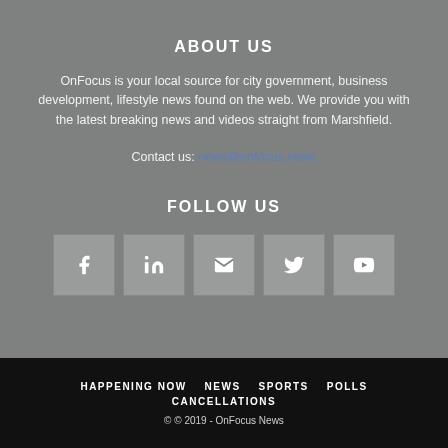ABOUT US
OnFocus is your local source for city government, business development, lifestyle news found on the web. We provide you with the latest breaking news and videos straight from Marshfield.
Contact us: news@onfocus.news
FOLLOW US
[Figure (infographic): Social media icon buttons: Facebook, LinkedIn, Email, Twitter, YouTube]
HAPPENING NOW   NEWS   SPORTS   POLLS   CANCELLATIONS
© © 2019 - OnFocus News